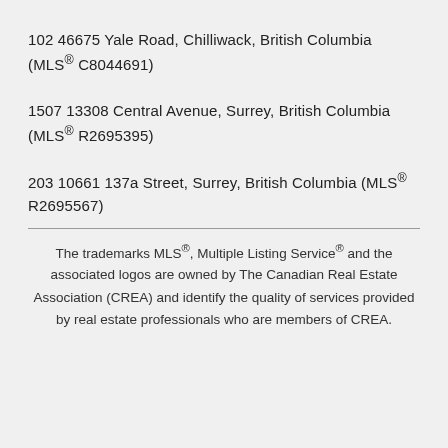102 46675 Yale Road, Chilliwack, British Columbia (MLS® C8044691)
1507 13308 Central Avenue, Surrey, British Columbia (MLS® R2695395)
203 10661 137a Street, Surrey, British Columbia (MLS® R2695567)
The trademarks MLS®, Multiple Listing Service® and the associated logos are owned by The Canadian Real Estate Association (CREA) and identify the quality of services provided by real estate professionals who are members of CREA.